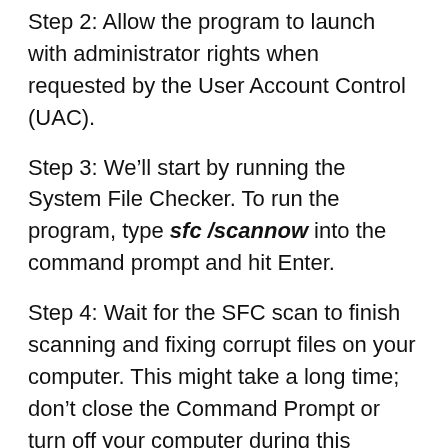Step 2: Allow the program to launch with administrator rights when requested by the User Account Control (UAC).
Step 3: We’ll start by running the System File Checker. To run the program, type sfc /scannow into the command prompt and hit Enter.
Step 4: Wait for the SFC scan to finish scanning and fixing corrupt files on your computer. This might take a long time; don’t close the Command Prompt or turn off your computer during this period.
Step 5: After that, type the following command and hit Enter to run it: Dism /df1 /...